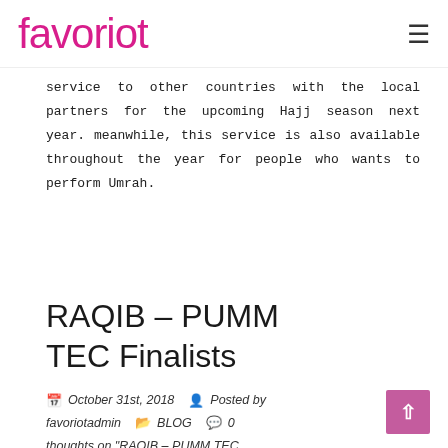favoriot
service to other countries with the local partners for the upcoming Hajj season next year. meanwhile, this service is also available throughout the year for people who wants to perform Umrah.
RAQIB – PUMM TEC Finalists
October 31st, 2018  Posted by favoriotadmin  BLOG  0 thoughts on "RAQIB – PUMM TEC Finalists"